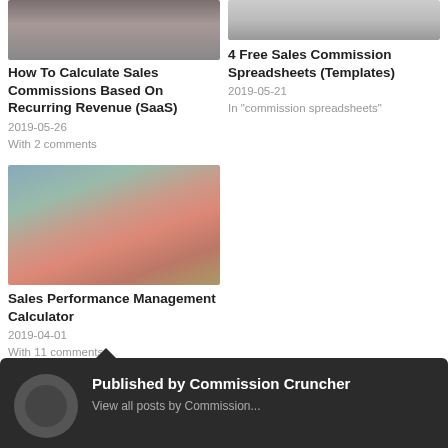[Figure (photo): Thumbnail image for blog post about sales commissions (top left)]
How To Calculate Sales Commissions Based On Recurring Revenue (SaaS)
2019-05-26
With 2 comments
[Figure (photo): Thumbnail image for blog post about free sales commission spreadsheets (top right)]
4 Free Sales Commission Spreadsheets (Templates)
2019-05-21
In "commission spreadsheets"
[Figure (photo): Thumbnail image showing a sandwich being measured with calipers]
Sales Performance Management Calculator
2019-04-01
With 11 comments
Published by Commission Cruncher
View all posts by Commission...